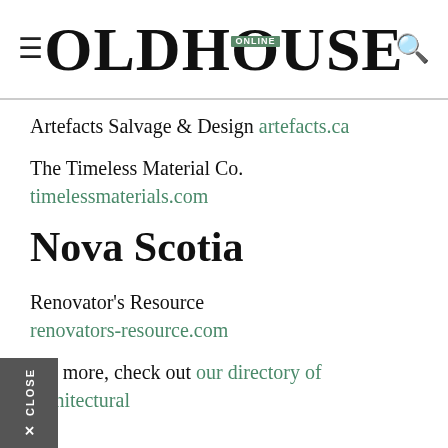OLDHOUSE ONLINE
Artefacts Salvage & Design artefacts.ca
The Timeless Material Co.
timelessmaterials.com
Nova Scotia
Renovator’s Resource
renovators-resource.com
For more, check out our directory of architectural